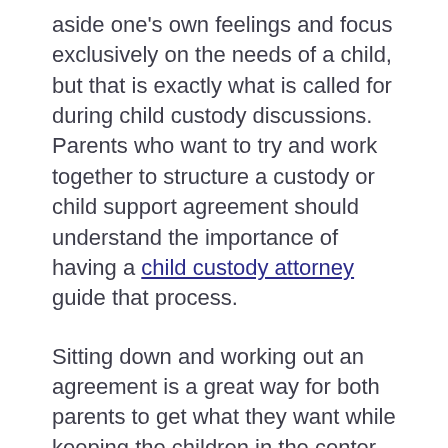aside one's own feelings and focus exclusively on the needs of a child, but that is exactly what is called for during child custody discussions. Parents who want to try and work together to structure a custody or child support agreement should understand the importance of having a child custody attorney guide that process.
Sitting down and working out an agreement is a great way for both parents to get what they want while keeping the children in the center of the matter to end up with the best possible outcome. That said, few things are more likely to cause contention than matters involving one's children and money. It is easy for parents to become sidetracked while working through their child support and custody options, which is